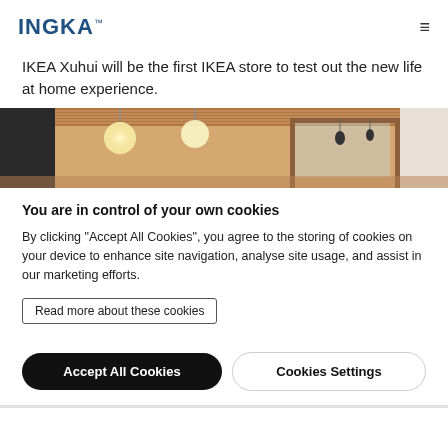INGKA™  ☰
IKEA Xuhui will be the first IKEA store to test out the new life at home experience.
[Figure (photo): Interior of an IKEA store showing pendant globe lights hanging from a slatted wooden ceiling, with a storefront entrance area in warm wood tones.]
You are in control of your own cookies
By clicking "Accept All Cookies", you agree to the storing of cookies on your device to enhance site navigation, analyse site usage, and assist in our marketing efforts.
Read more about these cookies
Accept All Cookies   Cookies Settings